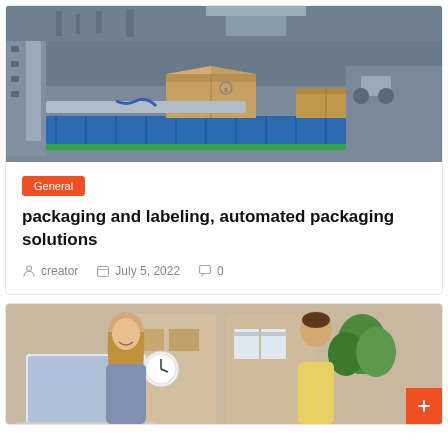[Figure (photo): Automated packaging conveyor belt with cardboard boxes in an industrial factory setting]
General
packaging and labeling, automated packaging solutions
creator   July 5, 2022   0
[Figure (photo): Two people (woman with long hair and man in yellow shirt) working together at a laptop in a bright office with shelves, boxes, clock, and plants in the background]